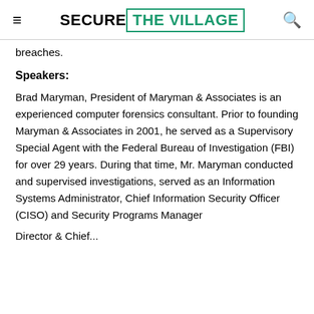SECURE THE VILLAGE
breaches.
Speakers:
Brad Maryman, President of Maryman & Associates is an experienced computer forensics consultant. Prior to founding Maryman & Associates in 2001, he served as a Supervisory Special Agent with the Federal Bureau of Investigation (FBI) for over 29 years. During that time, Mr. Maryman conducted and supervised investigations, served as an Information Systems Administrator, Chief Information Security Officer (CISO) and Security Programs Manager
...Director & Chief...